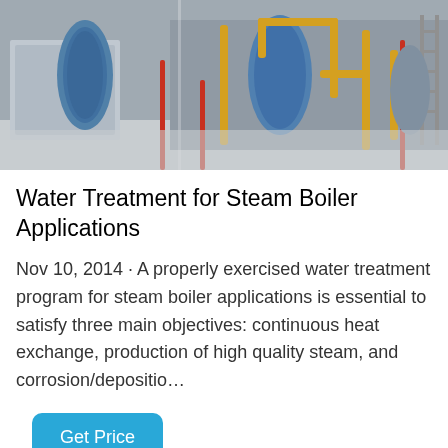[Figure (photo): Industrial steam boilers with blue cylindrical vessels and yellow pipe systems in a facility]
Water Treatment for Steam Boiler Applications
Nov 10, 2014 · A properly exercised water treatment program for steam boiler applications is essential to satisfy three main objectives: continuous heat exchange, production of high quality steam, and corrosion/depositio…
[Figure (photo): Industrial piping and ductwork on ceiling of industrial facility]